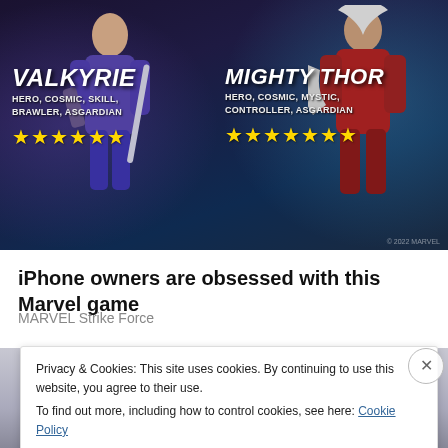[Figure (screenshot): Marvel Strike Force game advertisement banner showing Valkyrie (Hero, Cosmic, Skill, Brawler, Asgardian, 6 stars) on the left and Mighty Thor (Hero, Cosmic, Mystic, Controller, Asgardian, 7 stars) on the right, with colorful character art against a dark background.]
iPhone owners are obsessed with this Marvel game
MARVEL Strike Force
[Figure (photo): Partial view of a round grey object (possibly a hat or container) against a grey background, partially obscured by cookie consent banner.]
Privacy & Cookies: This site uses cookies. By continuing to use this website, you agree to their use.
To find out more, including how to control cookies, see here: Cookie Policy
Close and accept